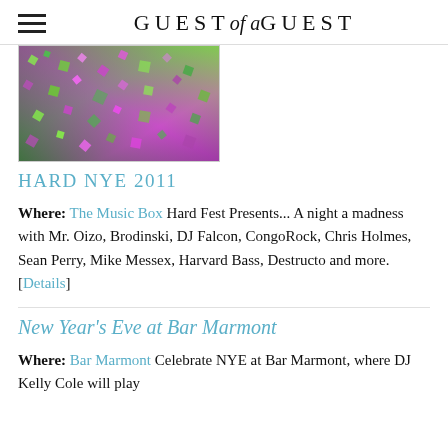GUEST of a GUEST
[Figure (photo): Abstract colorful image with green and pink/purple hues, appears to be a concert or electronic music event promotional graphic]
HARD NYE 2011
Where: The Music Box Hard Fest Presents... A night a madness with Mr. Oizo, Brodinski, DJ Falcon, CongoRock, Chris Holmes, Sean Perry, Mike Messex, Harvard Bass, Destructo and more. [Details]
New Year's Eve at Bar Marmont
Where: Bar Marmont Celebrate NYE at Bar Marmont, where DJ Kelly Cole will play...